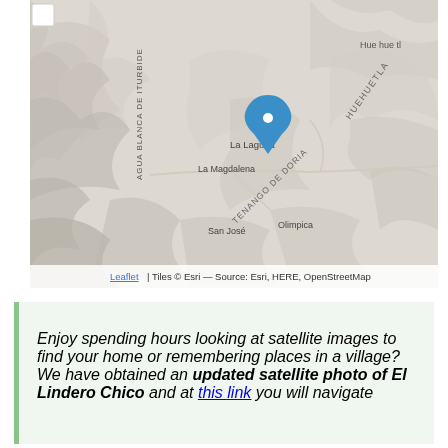[Figure (map): Topographic map showing El Lindero Chico area in Mexico, with a blue location pin marker near La Laguna. Map labels include Huehuetl, HUEHUETLA, La Laguna, La Magdalena, TENANGO DE DORIA, San Jose, Olimpica, AGUA BLANCA DE ITURBIDE. Map attribution: Leaflet | Tiles © Esri — Source: Esri, HERE, OpenStreetMap]
Enjoy spending hours looking at satellite images to find your home or remembering places in a village? We have obtained an updated satellite photo of El Lindero Chico and at this link you will navigate